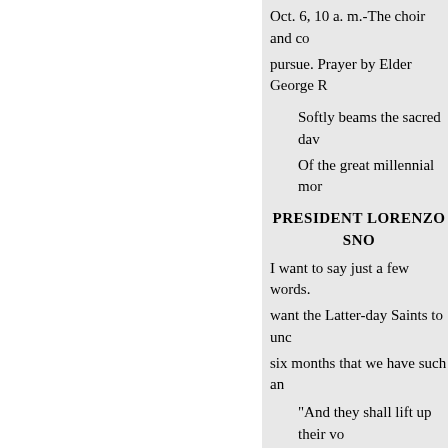Oct. 6, 10 a. m.-The choir and co pursue. Prayer by Elder George R
Softly beams the sacred daw Of the great millennial mor
PRESIDENT LORENZO SNO
I want to say just a few words. want the Latter-day Saints to unc six months that we have such an
"And they shall lift up their vo
"The Lord hath brought aga The Lord hath redeemed Hi According to the election of Israel, Which was brought to pass And covenant of their fathe The Lord hath redeemed Hi And Satan is bound and tim longer;